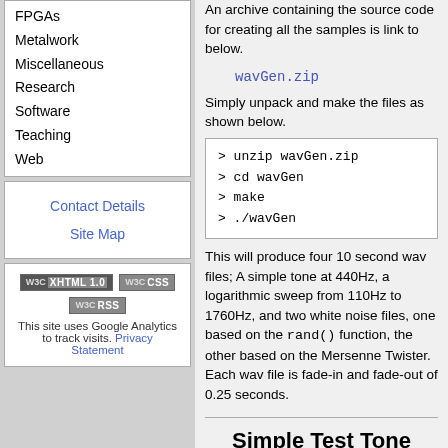FPGAs
Metalwork
Miscellaneous
Research
Software
Teaching
Web
Contact Details
Site Map
[Figure (other): W3C XHTML 1.0, W3C CSS, W3C RSS badges]
This site uses Google Analytics to track visits. Privacy Statement
An archive containing the source code for creating all the samples is link to below.
wavGen.zip
Simply unpack and make the files as shown below.
> unzip wavGen.zip
> cd wavGen
> make
> ./wavGen
This will produce four 10 second wav files; A simple tone at 440Hz, a logarithmic sweep from 110Hz to 1760Hz, and two white noise files, one based on the rand() function, the other based on the Mersenne Twister. Each wav file is fade-in and fade-out of 0.25 seconds.
Simple Test Tone
Really very simple, but here basically for lazy cut n' pasting.
void genTone(float *buffer,
long numSamples, int